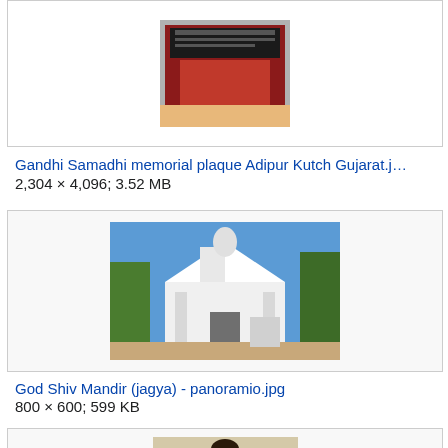[Figure (photo): Top portion of a Gandhi Samadhi memorial plaque photo, partially cropped at top of page]
Gandhi Samadhi memorial plaque Adipur Kutch Gujarat.j…
2,304 × 4,096; 3.52 MB
[Figure (photo): God Shiv Mandir (jagya) - a white Hindu temple with statue on top, blue sky and trees in background]
God Shiv Mandir (jagya) - panoramio.jpg
800 × 600; 599 KB
[Figure (photo): Painting of a woman in a green outfit, partially visible at bottom of page]